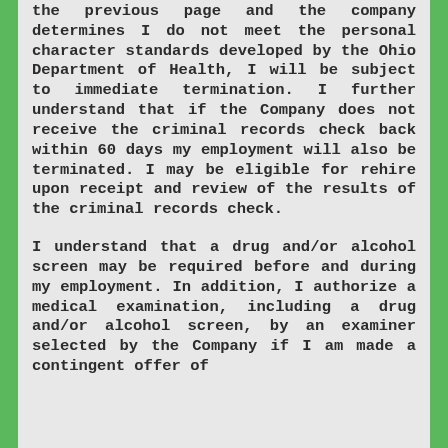the previous page and the company determines I do not meet the personal character standards developed by the Ohio Department of Health, I will be subject to immediate termination. I further understand that if the Company does not receive the criminal records check back within 60 days my employment will also be terminated. I may be eligible for rehire upon receipt and review of the results of the criminal records check.
I understand that a drug and/or alcohol screen may be required before and during my employment. In addition, I authorize a medical examination, including a drug and/or alcohol screen, by an examiner selected by the Company if I am made a contingent offer of employment.